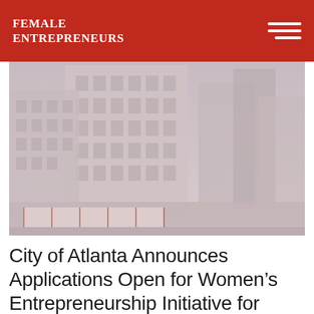Female Entrepreneurs
[Figure (photo): Exterior photograph of a tall multi-story historic downtown Atlanta building with construction barriers at street level, muted reddish-gray tones, urban cityscape background]
City of Atlanta Announces Applications Open for Women's Entrepreneurship Initiative for 2018-19 Business Incubator Program